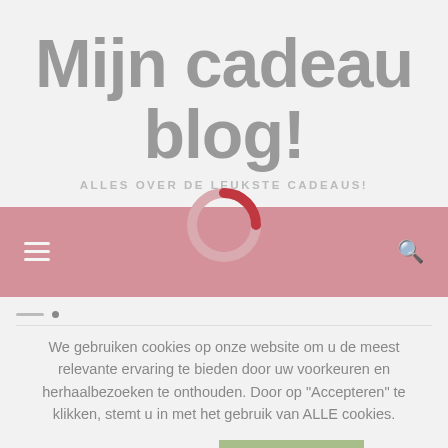Mijn cadeau blog!
ALLES OVER DE LEUKSTE CADEAUS!
[Figure (other): Navigation bar with hamburger menu icon on the left, a circular loading spinner/logo in the center top, and a search icon on the right, on a dusty rose/pink background.]
We gebruiken cookies op onze website om u de meest relevante ervaring te bieden door uw voorkeuren en herhaalbezoeken te onthouden. Door op "Accepteren" te klikken, stemt u in met het gebruik van ALLE cookies.
Cookie instellingen   ACCEPTEREN